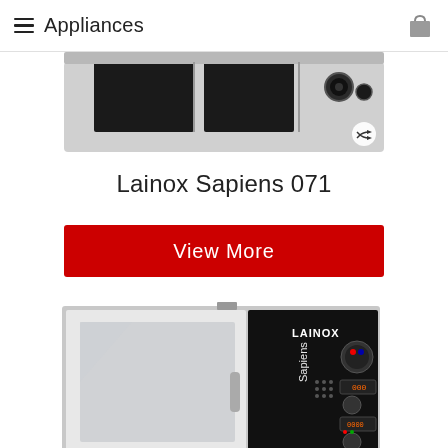Appliances
[Figure (photo): Top portion of a Lainox Sapiens commercial oven, showing the top panel with controls, cropped at top of page]
Lainox Sapiens 071
View More
[Figure (photo): Lainox Sapiens commercial combi oven with stainless steel door on left and black control panel on right showing 'Sapiens' branding and 'LAINOX' logo with dials and digital displays]